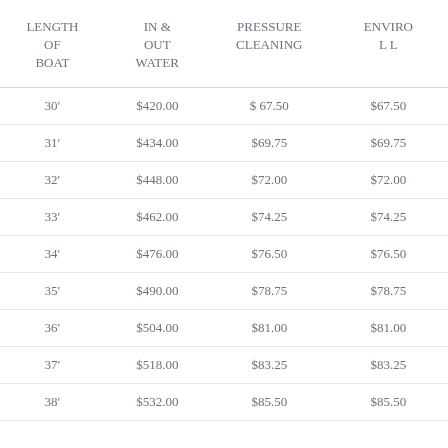| LENGTH OF BOAT | IN & OUT WATER | PRESSURE CLEANING | ENVIRO L L |
| --- | --- | --- | --- |
| 30′ | $420.00 | $ 67.50 | $67.50 |
| 31′ | $434.00 | $69.75 | $69.75 |
| 32′ | $448.00 | $72.00 | $72.00 |
| 33′ | $462.00 | $74.25 | $74.25 |
| 34′ | $476.00 | $76.50 | $76.50 |
| 35′ | $490.00 | $78.75 | $78.75 |
| 36′ | $504.00 | $81.00 | $81.00 |
| 37′ | $518.00 | $83.25 | $83.25 |
| 38′ | $532.00 | $85.50 | $85.50 |